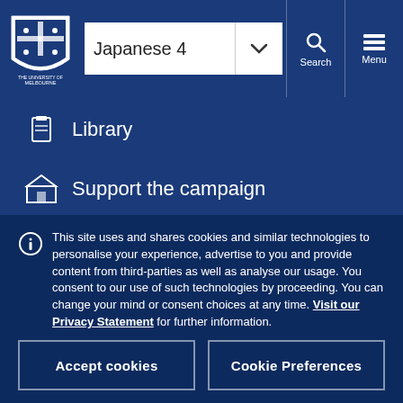[Figure (logo): University of Melbourne crest logo]
Japanese 4
Library
Support the campaign
Contact us
Jobs
This site uses and shares cookies and similar technologies to personalise your experience, advertise to you and provide content from third-parties as well as analyse our usage. You consent to our use of such technologies by proceeding. You can change your mind or consent choices at any time. Visit our Privacy Statement for further information.
Accept cookies
Cookie Preferences